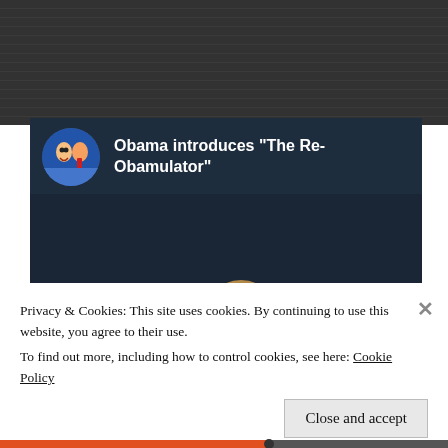[Figure (screenshot): Screenshot of a webpage showing a YouTube embedded video titled 'Obama introduces The Re-Obamulator' with a cartoon caricature thumbnail, overlaid by a cookie consent popup notice at the bottom with a 'Close and accept' button.]
Privacy & Cookies: This site uses cookies. By continuing to use this website, you agree to their use.
To find out more, including how to control cookies, see here: Cookie Policy
Close and accept